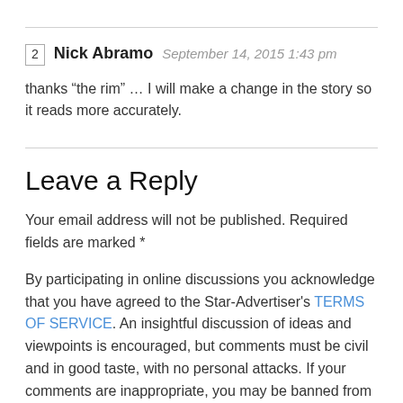2  Nick Abramo  September 14, 2015 1:43 pm
thanks “the rim” … I will make a change in the story so it reads more accurately.
Leave a Reply
Your email address will not be published. Required fields are marked *
By participating in online discussions you acknowledge that you have agreed to the Star-Advertiser’s TERMS OF SERVICE. An insightful discussion of ideas and viewpoints is encouraged, but comments must be civil and in good taste, with no personal attacks. If your comments are inappropriate, you may be banned from